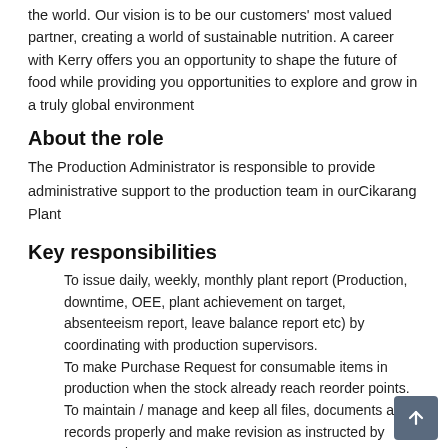the world. Our vision is to be our customers' most valued partner, creating a world of sustainable nutrition. A career with Kerry offers you an opportunity to shape the future of food while providing you opportunities to explore and grow in a truly global environment
About the role
The Production Administrator is responsible to provide administrative support to the production team in ourCikarang Plant
Key responsibilities
To issue daily, weekly, monthly plant report (Production, downtime, OEE, plant achievement on target, absenteeism report, leave balance report etc) by coordinating with production supervisors.
To make Purchase Request for consumable items in production when the stock already reach reorder points.
To maintain / manage and keep all files, documents and records properly and make revision as instructed by Manager / SPV.
To keep confidentiality of all files, records, documents, formula and machine & equipment in our company.
To support administratively any new or revision / changes